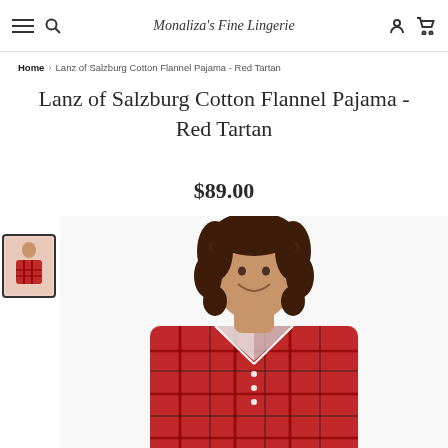Monaliza's Fine Lingerie
Home > Lanz of Salzburg Cotton Flannel Pajama - Red Tartan
Lanz of Salzburg Cotton Flannel Pajama - Red Tartan
$89.00
[Figure (photo): Woman wearing red tartan cotton flannel pajama top, smiling, with curly brown hair. Bottom portion of image visible with thumbnail strip on left side.]